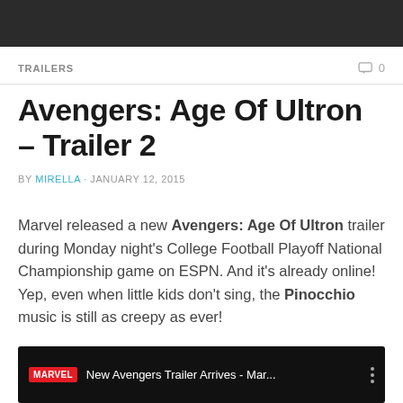TRAILERS   0
Avengers: Age Of Ultron – Trailer 2
BY MIRELLA · JANUARY 12, 2015
Marvel released a new Avengers: Age Of Ultron trailer during Monday night's College Football Playoff National Championship game on ESPN. And it's already online! Yep, even when little kids don't sing, the Pinocchio music is still as creepy as ever!
[Figure (screenshot): YouTube video embed showing Marvel channel video titled 'New Avengers Trailer Arrives - Mar...' with three-dot menu icon]